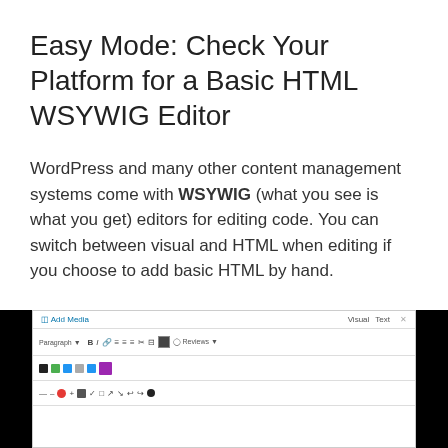Easy Mode: Check Your Platform for a Basic HTML WSYWIG Editor
WordPress and many other content management systems come with WSYWIG (what you see is what you get) editors for editing code. You can switch between visual and HTML when editing if you choose to add basic HTML by hand.
[Figure (screenshot): Screenshot of a WordPress WYSIWYG editor toolbar with Add Media button, Visual/Text tabs, formatting buttons, and an empty editing area. Black bars on left and right sides frame the image.]